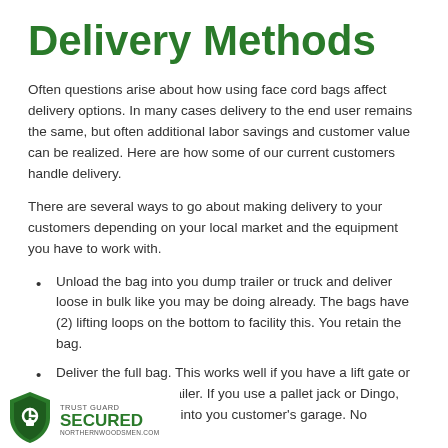Delivery Methods
Often questions arise about how using face cord bags affect delivery options. In many cases delivery to the end user remains the same, but often additional labor savings and customer value can be realized. Here are how some of our current customers handle delivery.
There are several ways to go about making delivery to your customers depending on your local market and the equipment you have to work with.
Unload the bag into you dump trailer or truck and deliver loose in bulk like you may be doing already. The bags have (2) lifting loops on the bottom to facility this. You retain the bag.
Deliver the full bag. This works well if you have a lift gate or tilt bed equipment trailer. If you use a pallet jack or Dingo, you can deliver right into you customer's garage. No stacking required.
Either you include the cost of the bag in your face cord price or charge a deposit. Firewood customer really like this option. An